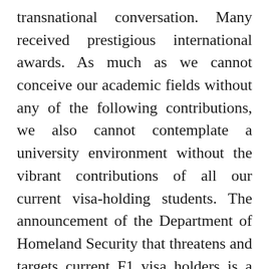transnational conversation. Many received prestigious international awards. As much as we cannot conceive our academic fields without any of the following contributions, we also cannot contemplate a university environment without the vibrant contributions of all our current visa-holding students. The announcement of the Department of Homeland Security that threatens and targets current F1 visa holders is a threat against all international scholars, against the future pursuit of knowledge, and against the nation itself.